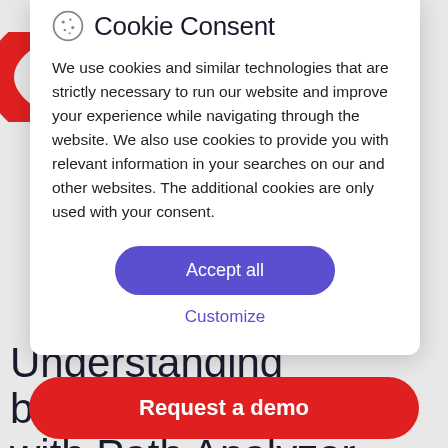Cookie Consent
We use cookies and similar technologies that are strictly necessary to run our website and improve your experience while navigating through the website. We also use cookies to provide you with relevant information in your searches on our and other websites. The additional cookies are only used with your consent.
Accept all
Customize
Understanding behavior with Path Analyzer
Request a demo